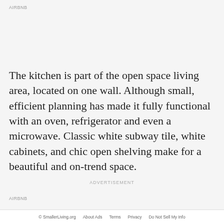AIRBNB
The kitchen is part of the open space living area, located on one wall. Although small, efficient planning has made it fully functional with an oven, refrigerator and even a microwave. Classic white subway tile, white cabinets, and chic open shelving make for a beautiful and on-trend space.
ADVERTISEMENT
AIRBNB
© SmallerLiving.org   About Ads   Terms   Privacy   Do Not Sell My Info